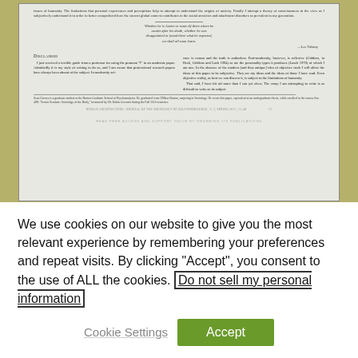[Figure (screenshot): Scanned academic journal page preview showing two-column layout with pull quote, Disclaimer section header, body text, footnote, and page footer. Text discusses subjectivity, post-modernity, and academic writing style.]
We use cookies on our website to give you the most relevant experience by remembering your preferences and repeat visits. By clicking “Accept”, you consent to the use of ALL the cookies. Do not sell my personal information
Cookie Settings
Accept